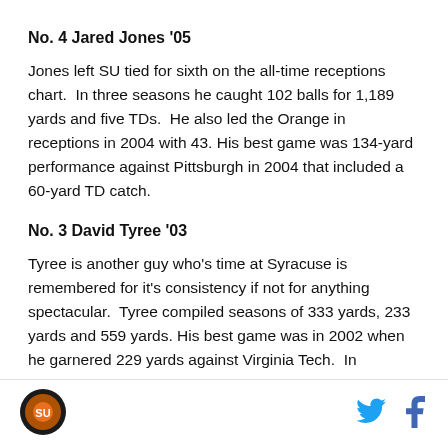No. 4 Jared Jones '05
Jones left SU tied for sixth on the all-time receptions chart.  In three seasons he caught 102 balls for 1,189 yards and five TDs.  He also led the Orange in receptions in 2004 with 43. His best game was 134-yard performance against Pittsburgh in 2004 that included a 60-yard TD catch.
No. 3 David Tyree '03
Tyree is another guy who's time at Syracuse is remembered for it's consistency if not for anything spectacular.  Tyree compiled seasons of 333 yards, 233 yards and 559 yards. His best game was in 2002 when he garnered 229 yards against Virginia Tech.  In
[Figure (logo): Syracuse Orange circular logo with orange ball on dark background]
[Figure (logo): Twitter bird icon in blue]
[Figure (logo): Facebook f icon in blue]